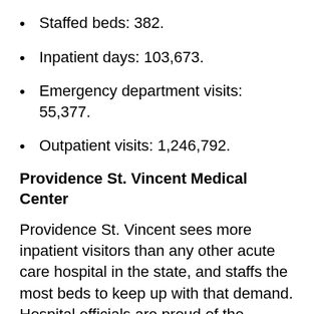Staffed beds: 382.
Inpatient days: 103,673.
Emergency department visits: 55,377.
Outpatient visits: 1,246,792.
Providence St. Vincent Medical Center
Providence St. Vincent sees more inpatient visitors than any other acute care hospital in the state, and staffs the most beds to keep up with that demand. Hospital officials are proud of the recognition they have received, including designation for Excellence in Nursing Services from the American Nurses Credentialing Center. In 2009, St. Vincent was named one of